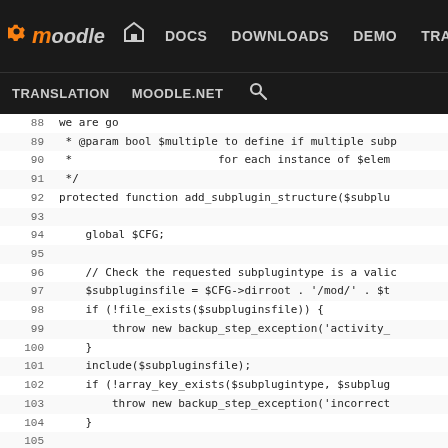Moodle navigation: DOCS DOWNLOADS DEMO TRACKER DEV | TRANSLATION MOODLE.NET [search]
[Figure (screenshot): Moodle developer documentation website header with navigation links: DOCS, DOWNLOADS, DEMO, TRACKER, DEV (highlighted in blue/purple), TRANSLATION, MOODLE.NET, and a search icon.]
Source code viewer showing PHP code lines 88-114 of a backup plugin structure function. Lines include: @param bool $multiple comments, protected function add_subplugin_structure, global $CFG, file existence checks, backup_step_exception throws, include statements, array_key_exists checks, optigroup creation, and get_plugin_list calls.